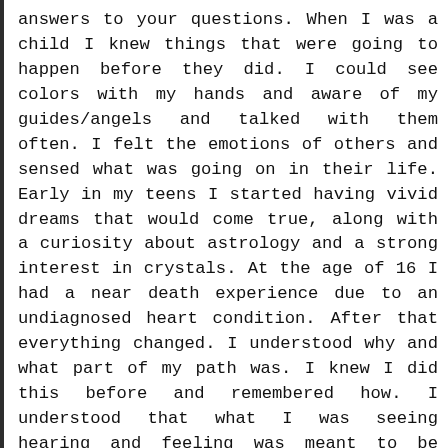answers to your questions. When I was a child I knew things that were going to happen before they did. I could see colors with my hands and aware of my guides/angels and talked with them often. I felt the emotions of others and sensed what was going on in their life. Early in my teens I started having vivid dreams that would come true, along with a curiosity about astrology and a strong interest in crystals. At the age of 16 I had a near death experience due to an undiagnosed heart condition. After that everything changed. I understood why and what part of my path was. I knew I did this before and remembered how. I understood that what I was seeing hearing and feeling was meant to be shared. As a young adult I started giving readings to my friends and family. They told their friends, family and work associates. By referrals more people came to see me.